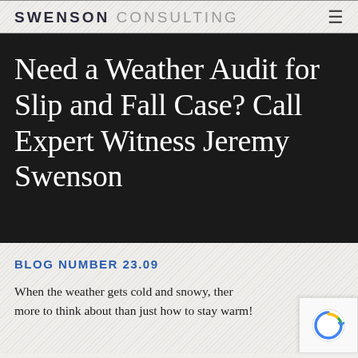SWENSON CONSULTING
Need a Weather Audit for Slip and Fall Case? Call Expert Witness Jeremy Swenson
BLOG NUMBER 23.09
When the weather gets cold and snowy, there's more to think about than just how to stay warm!